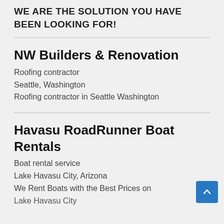WE ARE THE SOLUTION YOU HAVE BEEN LOOKING FOR!
NW Builders & Renovation
Roofing contractor
Seattle, Washington
Roofing contractor in Seattle Washington
Havasu RoadRunner Boat Rentals
Boat rental service
Lake Havasu City, Arizona
We Rent Boats with the Best Prices on Lake Havasu City